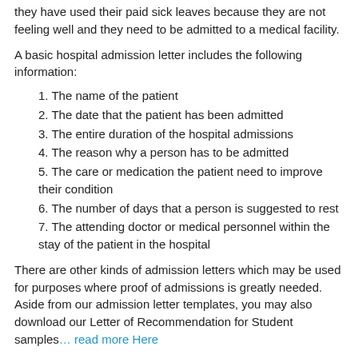they have used their paid sick leaves because they are not feeling well and they need to be admitted to a medical facility.
A basic hospital admission letter includes the following information:
1. The name of the patient
2. The date that the patient has been admitted
3. The entire duration of the hospital admissions
4. The reason why a person has to be admitted
5. The care or medication the patient need to improve their condition
6. The number of days that a person is suggested to rest
7. The attending doctor or medical personnel within the stay of the patient in the hospital
There are other kinds of admission letters which may be used for purposes where proof of admissions is greatly needed. Aside from our admission letter templates, you may also download our Letter of Recommendation for Student samples… read more Here